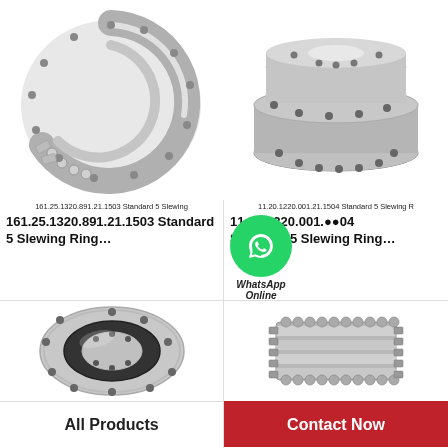[Figure (photo): Slewing ring bearing (open arc, steel, with bolt holes) - 161.25.1320.891.21.1503 Standard 5 Slewing Ring]
[Figure (photo): Slewing ring bearing (triple-ring flanged, steel) - 11.20.1220.001.21.1504 Standard 5 Slewing Ring]
161.25.1320.891.21.1503 Standard 5 Slewing
11.20.1220.001.21.1504 Standard 5 Slewing R
161.25.1320.891.21.1503 Standard 5 Slewing Ring…
11.20.1220.001.●●04 Standard 5 Slewing Ring…
[Figure (other): WhatsApp Online icon with green circle phone logo and italic text 'WhatsApp Online']
[Figure (photo): Slewing ring bearing (compact circular, with bolt holes)]
[Figure (photo): Cylindrical roller bearing with external gear teeth]
All Products
Contact Now